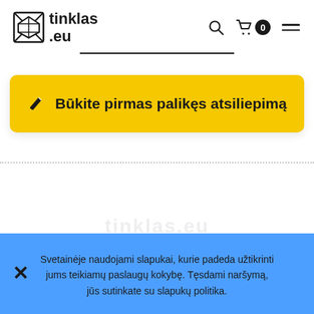tinklas .eu — navigation header with logo, search, cart (0), and menu icons
[Figure (other): Horizontal black divider line centered below header]
[Figure (other): Yellow button with pencil icon and text: Būkite pirmas palikęs atsiliepimą]
[Figure (other): Dotted horizontal divider line]
Svetainėje naudojami slapukai, kurie padeda užtikrinti jums teikiamų paslaugų kokybę. Tęsdami naršymą, jūs sutinkate su slapukų politika.